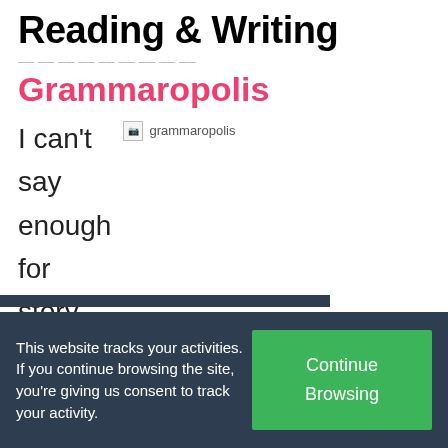Reading & Writing
Grammaropolis
[Figure (logo): Grammaropolis logo image placeholder]
I can't say enough for story-
This website tracks your activities. If you continue browsing the site, you're giving us consent to track your activity.
Continue Browsing